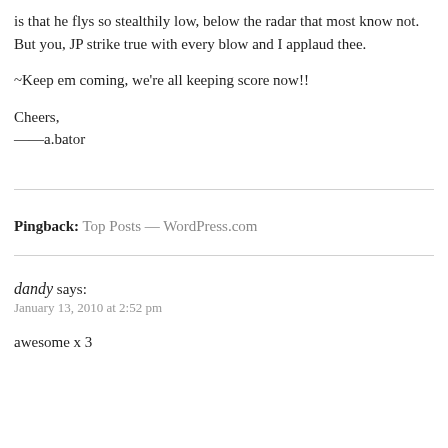is that he flys so stealthily low, below the radar that most know not. But you, JP strike true with every blow and I applaud thee.

~Keep em coming, we're all keeping score now!!

Cheers,
——a.bator
Pingback: Top Posts — WordPress.com
dandy says:
January 13, 2010 at 2:52 pm
awesome x 3